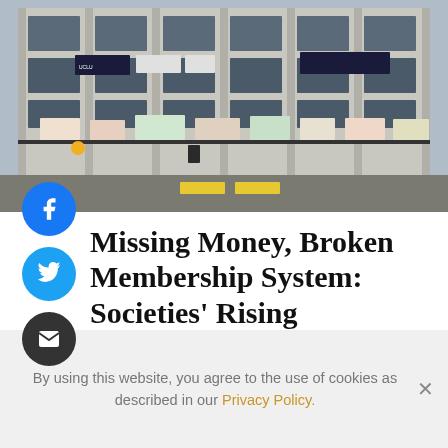[Figure (photo): Exterior of a large concrete university student union building with banners and protest signs displayed along the railing at street level. The building has a grid of large windows across multiple floors.]
Missing Money, Broken Membership System: Societies' Rising Discontent With Student's Union
By using this website, you agree to the use of cookies as described in our Privacy Policy.